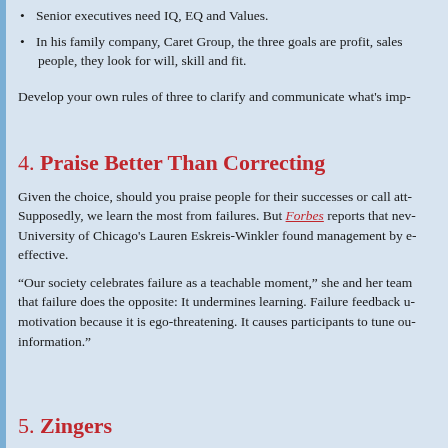Senior executives need IQ, EQ and Values.
In his family company, Caret Group, the three goals are profit, sales people, they look for will, skill and fit.
Develop your own rules of three to clarify and communicate what's imp-
4. Praise Better Than Correcting
Given the choice, should you praise people for their successes or call att- Supposedly, we learn the most from failures. But Forbes reports that nev- University of Chicago's Lauren Eskreis-Winkler found management by e- effective.
“Our society celebrates failure as a teachable moment,” she and her team that failure does the opposite: It undermines learning. Failure feedback u- motivation because it is ego-threatening. It causes participants to tune ou- information.”
5. Zingers